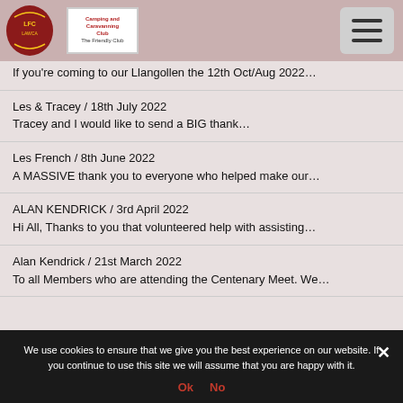[Figure (logo): Liverpool FC style crest logo on the left, and a Camping and Caravanning Club logo in white box on the right]
If you're coming to our Llangollen the 12th Oct/Aug 2022...
Les & Tracey / 18th July 2022
Tracey and I would like to send a BIG thank...
Les French / 8th June 2022
A MASSIVE thank you to everyone who helped make our...
ALAN KENDRICK / 3rd April 2022
Hi All, Thanks to you that volunteered help with assisting...
Alan Kendrick / 21st March 2022
To all Members who are attending the Centenary Meet. We...
We use cookies to ensure that we give you the best experience on our website. If you continue to use this site we will assume that you are happy with it. Ok No